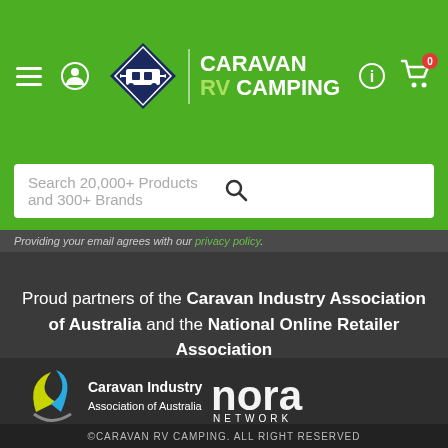[Figure (screenshot): Caravan RV Camping website header with green navigation bar containing hamburger menu, user icon, logo with diamond shape and caravan, CARAVAN RV CAMPING text, info icon, and shopping cart icon with 0 badge]
Search 20,000+ Products and 300+ Brands
Providing your email agrees with our privacy policy.
Proud partners of the Caravan Industry Association of Australia and the National Online Retailer Association
[Figure (logo): Caravan Industry Association of Australia logo with yellow and blue swoosh graphic, and NORA NETWORK logo in white text]
©CARAVAN RV CAMPING. ALL RIGHT RESERVED